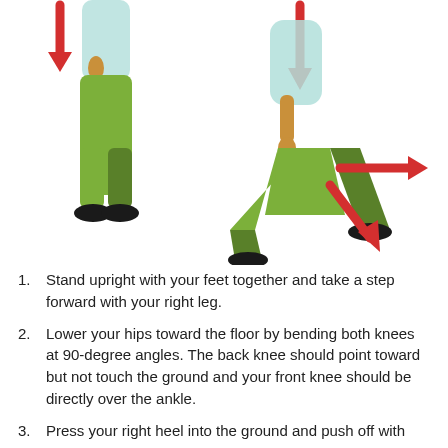[Figure (illustration): Two illustrated figures showing a lunge exercise. Left figure stands upright with a downward red arrow above. Right figure is in a lunge position with red arrows indicating directions of force: one downward, one horizontal to the right, one diagonal downward toward the floor.]
Stand upright with your feet together and take a step forward with your right leg.
Lower your hips toward the floor by bending both knees at 90-degree angles. The back knee should point toward but not touch the ground and your front knee should be directly over the ankle.
Press your right heel into the ground and push off with